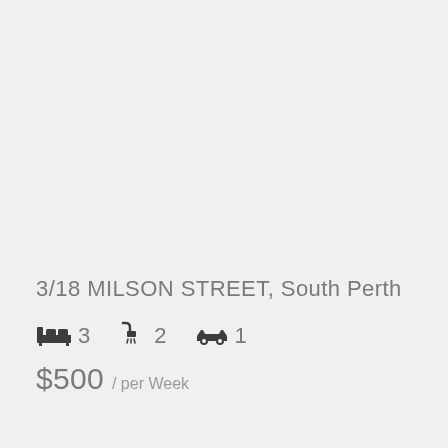[Figure (photo): Large light grey image placeholder area occupying the upper two-thirds of the page]
3/18 MILSON STREET, South Perth
3 bedrooms, 2 bathrooms, 1 car space
$500 / per Week